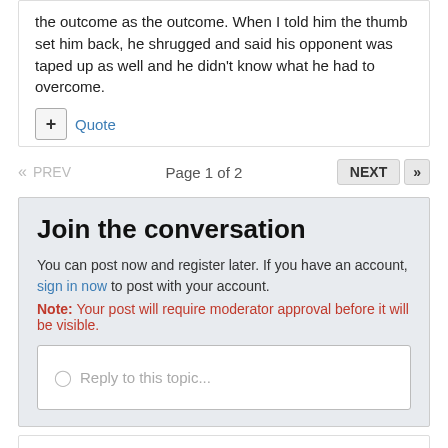the outcome as the outcome. When I told him the thumb set him back, he shrugged and said his opponent was taped up as well and he didn't know what he had to overcome.
+ Quote
<< PREV   Page 1 of 2   NEXT >>
Join the conversation
You can post now and register later. If you have an account, sign in now to post with your account.
Note: Your post will require moderator approval before it will be visible.
Reply to this topic...
Followers   0